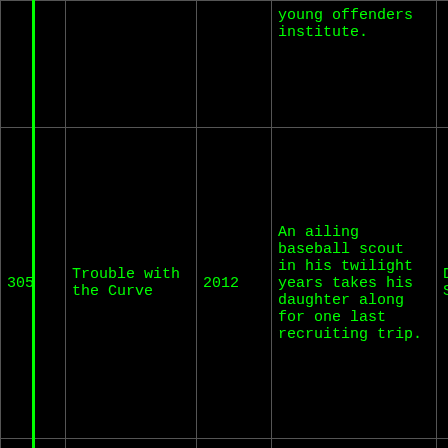| # | Title | Year | Description | Genre |
| --- | --- | --- | --- | --- |
|  |  |  | young offenders institute. |  |
| 305 | Trouble with the Curve | 2012 | An ailing baseball scout in his twilight years takes his daughter along for one last recruiting trip. | Drama, Sport |
| 310 | The Master | 2012 | A Naval veteran arrives home from war unsettled and uncertain of his future - until he is tantalized by The Cause and its charismatic leader. | Drama |
|  |  |  | Pot growers Ben and Chon |  |